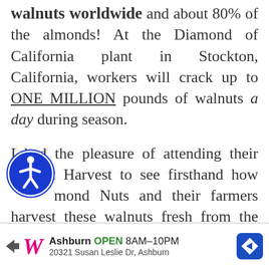walnuts worldwide and about 80% of the almonds! At the Diamond of California plant in Stockton, California, workers will crack up to ONE MILLION pounds of walnuts a day during season.
I had the pleasure of attending their Walnut Harvest to see firsthand how Diamond Nuts and their farmers harvest these walnuts fresh from the trees to package them into the product you purchase at the store. First, everything starts at the orchards of course! Hundreds and hundreds of miles of wal[nut trees]el
[Figure (other): Blue circular accessibility icon (wheelchair symbol) overlapping text]
[Figure (other): Advertisement banner for Walgreens in Ashburn, OPEN 8AM-10PM, 20321 Susan Leslie Dr, Ashburn]